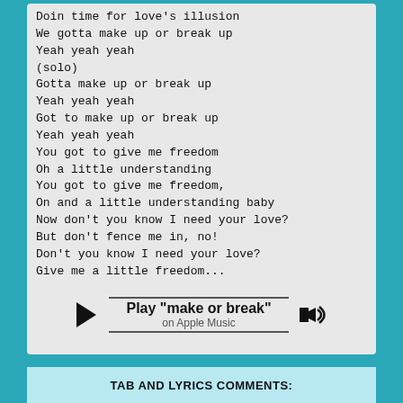Doin time for love's illusion
We gotta make up or break up
Yeah yeah yeah
(solo)
Gotta make up or break up
Yeah yeah yeah
Got to make up or break up
Yeah yeah yeah
You got to give me freedom
Oh a little understanding
You got to give me freedom,
On and a little understanding baby
Now don't you know I need your love?
But don't fence me in, no!
Don't you know I need your love?
Give me a little freedom...
I can toss it around...
Make or break up baby
We got to make up or break up, now...
Play "make or break"
on Apple Music
TAB AND LYRICS COMMENTS: